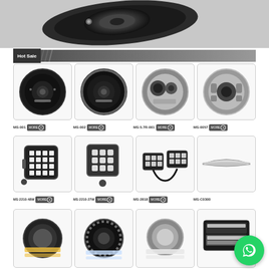[Figure (photo): Close-up photo of a black LED headlight/lamp unit from above, dark background]
Hot Sale
[Figure (photo): Product grid row 1: MS-001 black round LED headlight, MS-002 black round LED headlight with halo ring, MS-5.7R-001 chrome round LED headlight, MS-0057 chrome round LED headlight]
[Figure (photo): Product grid row 2: MS-2210-48W square LED work light, MS-2210-27W square LED work light, MS-2818 small rectangular LED work lights pair, MS-C0300 curved LED light bar]
[Figure (photo): Product grid row 3: Four more LED fog/work light products partially visible]